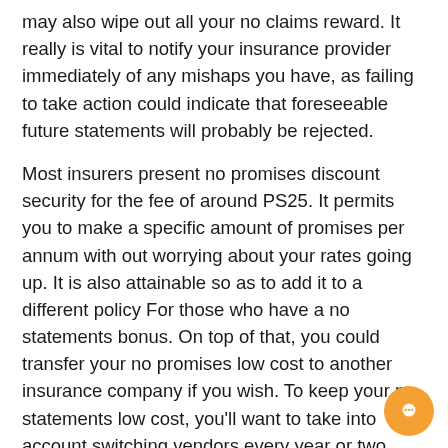may also wipe out all your no claims reward. It really is vital to notify your insurance provider immediately of any mishaps you have, as failing to take action could indicate that foreseeable future statements will probably be rejected.
Most insurers present no promises discount security for the fee of around PS25. It permits you to make a specific amount of promises per annum with out worrying about your rates going up. It is also attainable so as to add it to a different policy For those who have a no statements bonus. On top of that, you could transfer your no promises low cost to another insurance company if you wish. To keep your no statements low cost, you'll want to take into account switching vendors every year or two.
Boosting your deductibles
When hunting for a low cost auto insurance coverage quote, elevating your deductibles is a terrific way to get lessen